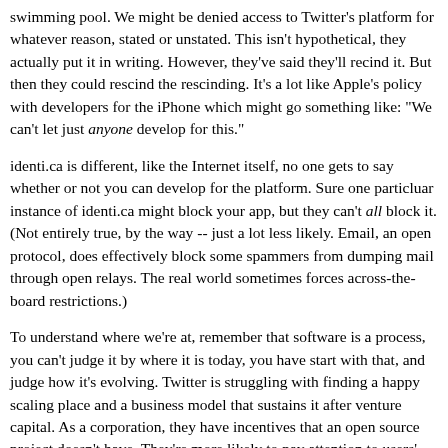swimming pool. We might be denied access to Twitter's platform for whatever reason, stated or unstated. This isn't hypothetical, they actually put it in writing. However, they've said they'll recind it. But then they could rescind the rescinding. It's a lot like Apple's policy with developers for the iPhone which might go something like: "We can't let just anyone develop for this."
identi.ca is different, like the Internet itself, no one gets to say whether or not you can develop for the platform. Sure one particluar instance of identi.ca might block your app, but they can't all block it. (Not entirely true, by the way -- just a lot less likely. Email, an open protocol, does effectively block some spammers from dumping mail through open relays. The real world sometimes forces across-the-board restrictions.)
To understand where we're at, remember that software is a process, you can't judge it by where it is today, you have start with that, and judge how it's evolving. Twitter is struggling with finding a happy scaling place and a business model that sustains it after venture capital. As a corporation, they have incentives that an open source project doesn't have. They're more likely to pay attention to users' needs than an open source project that's more likely to tell you to fix it yourself. Though the lack of a business model has made it less likely that the company views its users as customers. They've been polite, even playful, but the service has been pretty awful.